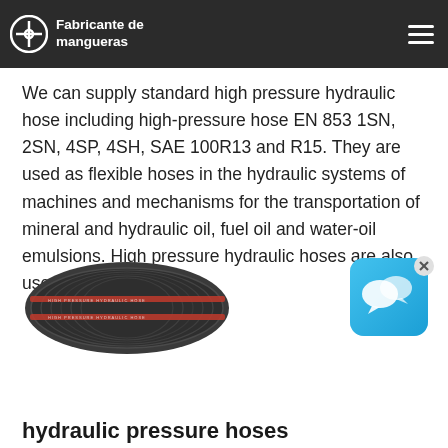Fabricante de mangueras
We can supply standard high pressure hydraulic hose including high-pressure hose EN 853 1SN, 2SN, 4SP, 4SH, SAE 100R13 and R15. They are used as flexible hoses in the hydraulic systems of machines and mechanisms for the transportation of mineral and hydraulic oil, fuel oil and water-oil emulsions. High pressure hydraulic hoses are also used in
[Figure (photo): Close-up photo of a high-pressure hydraulic hose with red stripe markings on dark gray ribbed surface]
hydraulic pressure hoses